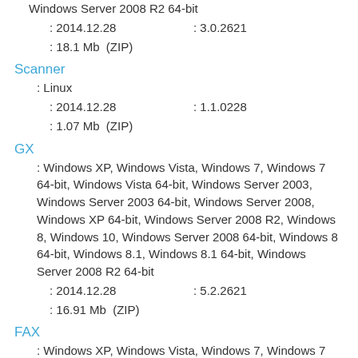Windows Server 2008 R2 64-bit
: 2014.12.28    : 3.0.2621
: 18.1 Mb  (ZIP)
Scanner
: Linux
: 2014.12.28    : 1.1.0228
: 1.07 Mb  (ZIP)
GX
: Windows XP, Windows Vista, Windows 7, Windows 7 64-bit, Windows Vista 64-bit, Windows Server 2003, Windows Server 2003 64-bit, Windows Server 2008, Windows XP 64-bit, Windows Server 2008 R2, Windows 8, Windows 10, Windows Server 2008 64-bit, Windows 8 64-bit, Windows 8.1, Windows 8.1 64-bit, Windows Server 2008 R2 64-bit
: 2014.12.28    : 5.2.2621
: 16.91 Mb  (ZIP)
FAX
: Windows XP, Windows Vista, Windows 7, Windows 7 64-bit, Windows Vista 64-bit, Windows Server 2003,